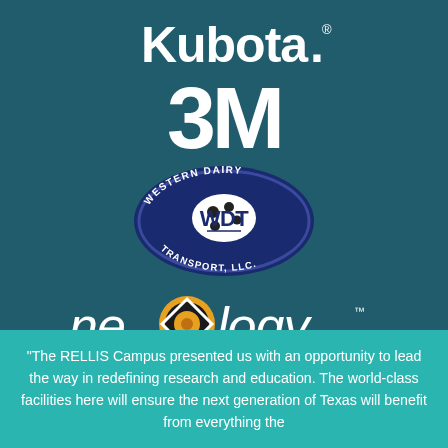[Figure (logo): Kubota brand logo in white text on dark teal background]
[Figure (logo): 3M brand logo in white bold text on dark teal background]
[Figure (logo): Western Dairy Transport LLC oval badge logo with WDT letters]
[Figure (logo): Neology Innovative Technologies logo with orange diamond eye symbol]
“The RELLIS Campus presented us with an opportunity to lead the way in redefining research and education. The world-class facilities here will ensure the next generation of Texas will benefit from everything the